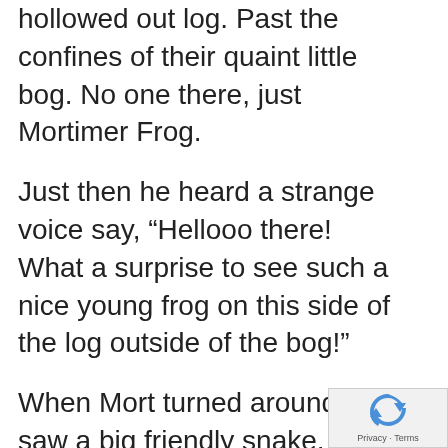hollowed out log. Past the confines of their quaint little bog. No one there, just Mortimer Frog.
Just then he heard a strange voice say, “Hellooo there! What a surprise to see such a nice young frog on this side of the log outside of the bog!”
When Mort turned around, he saw a big friendly snake, wearing a grin.
“My Mom Frog told me I shouldn’t go out here, but it seemed to me to be not only safe, but great fun as well! And I know my Mom Frog wants me to have fun.